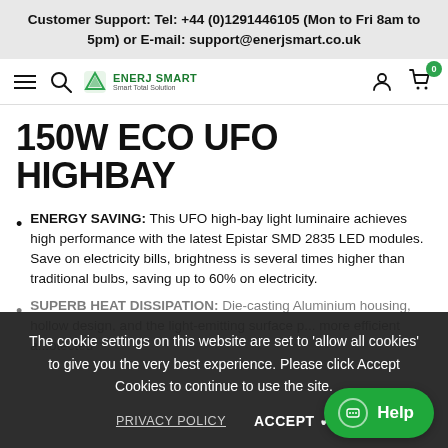Customer Support: Tel: +44 (0)1291446105 (Mon to Fri 8am to 5pm) or E-mail: support@enerjsmart.co.uk
[Figure (screenshot): Navigation bar with hamburger menu, search icon, Enerj Smart logo, user icon, and shopping cart with badge showing 0]
150W ECO UFO HIGHBAY
ENERGY SAVING: This UFO high-bay light luminaire achieves high performance with the latest Epistar SMD 2835 LED modules. Save on electricity bills, brightness is several times higher than traditional bulbs, saving up to 60% on electricity.
SUPERB HEAT DISSIPATION: Die-casting Aluminium housing, hollow design, and the light-emitting surface p... more efficient a... protected...
The cookie settings on this website are set to 'allow all cookies' to give you the very best experience. Please click Accept Cookies to continue to use the site.
PRIVACY POLICY   ACCEPT ✓